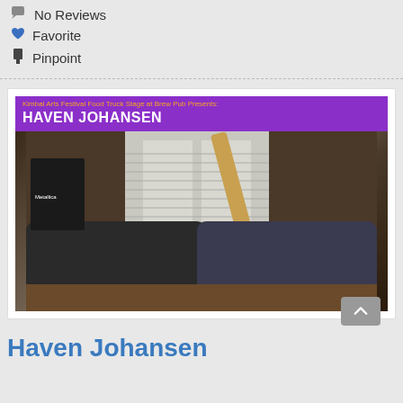No Reviews
Favorite
Pinpoint
[Figure (photo): Event card for Haven Johansen at Kimbal Arts Festival Food Truck Stage at Brew Pub. Purple banner header with artist name, below is a photo of a person lying on the floor playing a white electric guitar.]
Haven Johansen